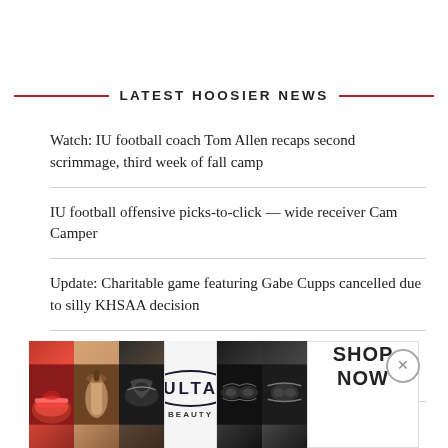LATEST HOOSIER NEWS
Watch: IU football coach Tom Allen recaps second scrimmage, third week of fall camp
IU football offensive picks-to-click — wide receiver Cam Camper
Update: Charitable game featuring Gabe Cupps cancelled due to silly KHSAA decision
Watch: IU basketball 2023 commit Gabe Cupps summer highlight reel
The Daily Hoosier Report: The Latest in IU News and Recruiting
[Figure (other): Ulta Beauty advertisement banner showing makeup products with 'SHOP NOW' call to action]